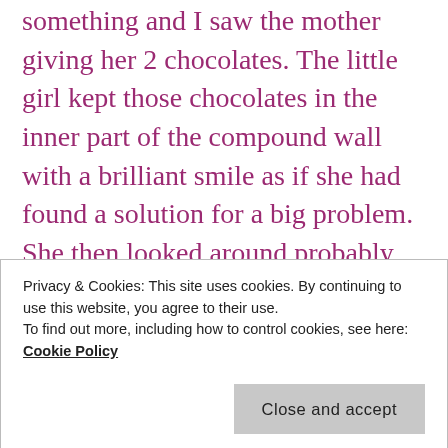something and I saw the mother giving her 2 chocolates. The little girl kept those chocolates in the inner part of the compound wall with a brilliant smile as if she had found a solution for a big problem. She then looked around probably waiting to spot someone in the house. The window glass being tinted in quality, did not allow her to see inside. They calmly went away. I was smiling with joy even when my pretty rose was harshly plucked by
Privacy & Cookies: This site uses cookies. By continuing to use this website, you agree to their use. To find out more, including how to control cookies, see here: Cookie Policy
Close and accept